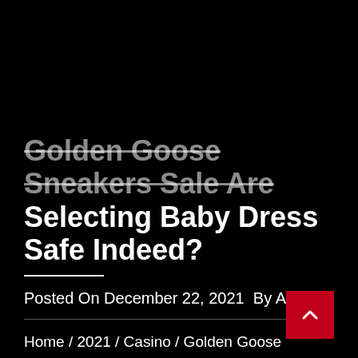Golden Goose Sneakers Sale Are Selecting Baby Dress Safe Indeed?
Posted On December 22, 2021  By Amara
Home / 2021 / Casino / Golden Goose Sneakers Sale Are Selecting Baby Dress Safe Indeed?